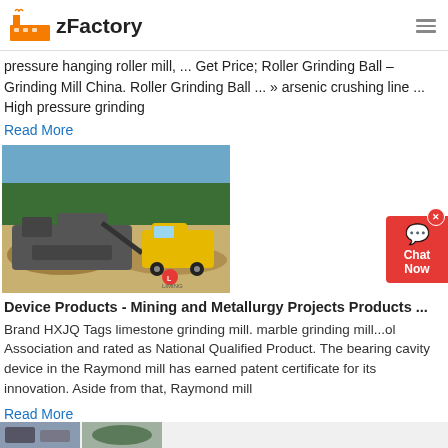zFactory
pressure hanging roller mill, ... Get Price; Roller Grinding Ball – Grinding Mill China. Roller Grinding Ball ... » arsenic crushing line ... High pressure grinding
Read More
[Figure (photo): Mining equipment - a crusher and dump truck at a quarry/mining site with trees in the background]
Device Products - Mining and Metallurgy Projects Products ...
Brand HXJQ Tags limestone grinding mill. marble grinding mill...ol Association and rated as National Qualified Product. The bearing cavity device in the Raymond mill has earned patent certificate for its innovation. Aside from that, Raymond mill
Read More